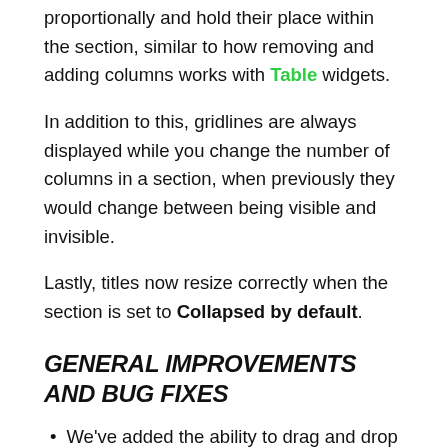proportionally and hold their place within the section, similar to how removing and adding columns works with Table widgets.
In addition to this, gridlines are always displayed while you change the number of columns in a section, when previously they would change between being visible and invisible.
Lastly, titles now resize correctly when the section is set to Collapsed by default.
GENERAL IMPROVEMENTS AND BUG FIXES
We've added the ability to drag and drop rules in